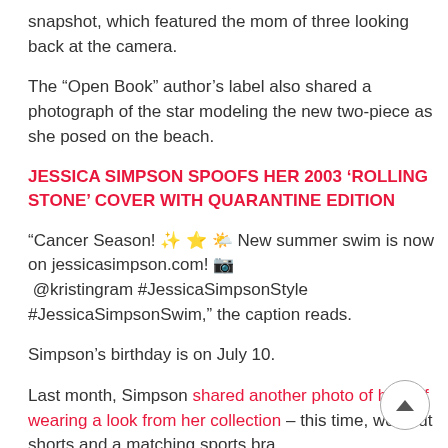snapshot, which featured the mom of three looking back at the camera.
The “Open Book” author’s label also shared a photograph of the star modeling the new two-piece as she posed on the beach.
JESSICA SIMPSON SPOOFS HER 2003 ‘ROLLING STONE’ COVER WITH QUARANTINE EDITION
“Cancer Season! ✨ ⭐️ 🌤️ New summer swim is now on jessicasimpson.com! 📷 @kristingram #JessicaSimpsonStyle #JessicaSimpsonSwim,” the caption reads.
Simpson’s birthday is on July 10.
Last month, Simpson shared another photo of herself wearing a look from her collection – this time, workout shorts and a matching sports bra.